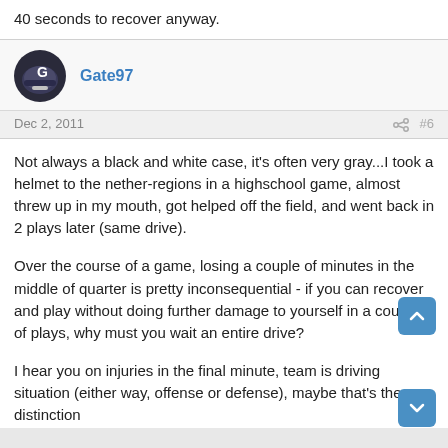40 seconds to recover anyway.
Gate97
Dec 2, 2011   #6
Not always a black and white case, it's often very gray...I took a helmet to the nether-regions in a highschool game, almost threw up in my mouth, got helped off the field, and went back in 2 plays later (same drive).
Over the course of a game, losing a couple of minutes in the middle of quarter is pretty inconsequential - if you can recover and play without doing further damage to yourself in a couple of plays, why must you wait an entire drive?
I hear you on injuries in the final minute, team is driving situation (either way, offense or defense), maybe that's the distinction